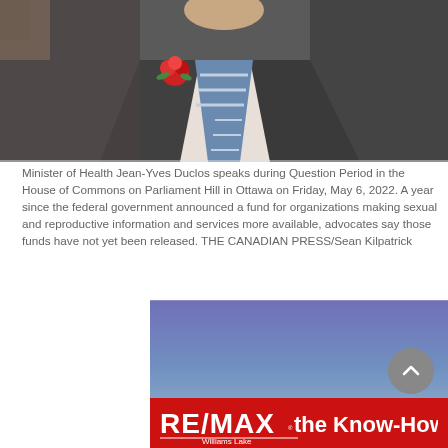[Figure (photo): Minister of Health Jean-Yves Duclos in a suit with a red carnation boutonniere and blue striped tie, gesturing with hand, photographed from chest up.]
Minister of Health Jean-Yves Duclos speaks during Question Period in the House of Commons on Parliament Hill in Ottawa on Friday, May 6, 2022. A year since the federal government announced a fund for organizations making sexual and reproductive information and services more available, advocates say those funds have not yet been released. THE CANADIAN PRESS/Sean Kilpatrick
[Figure (photo): A second image showing a blue gradient sky background, partially visible.]
[Figure (logo): RE/MAX Williams Lake – The Know-How – red banner advertisement]